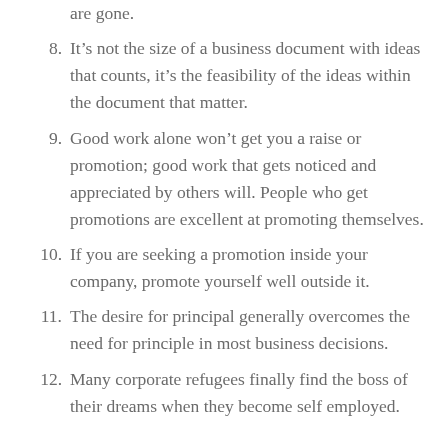are gone.
8. It’s not the size of a business document with ideas that counts, it’s the feasibility of the ideas within the document that matter.
9. Good work alone won’t get you a raise or promotion; good work that gets noticed and appreciated by others will. People who get promotions are excellent at promoting themselves.
10. If you are seeking a promotion inside your company, promote yourself well outside it.
11. The desire for principal generally overcomes the need for principle in most business decisions.
12. Many corporate refugees finally find the boss of their dreams when they become self employed.